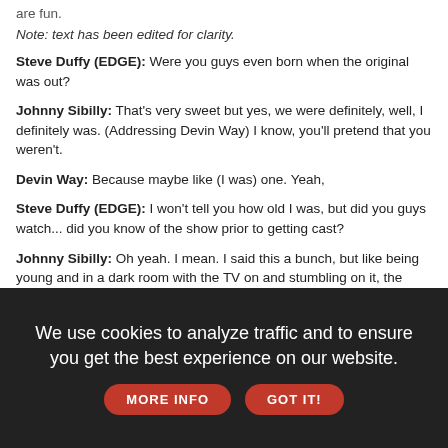are fun.
Note: text has been edited for clarity.
Steve Duffy (EDGE): Were you guys even born when the original was out?
Johnny Sibilly: That's very sweet but yes, we were definitely, well, I definitely was. (Addressing Devin Way) I know, you'll pretend that you weren't.
Devin Way: Because maybe like (I was) one. Yeah,
Steve Duffy (EDGE): I won't tell you how old I was, but did you guys watch... did you know of the show prior to getting cast?
Johnny Sibilly: Oh yeah. I mean. I said this a bunch, but like being young and in a dark room with the TV on and stumbling on it, the American version on Showtime, I remember, being like, (exaggerated expression) "Oooh!" And knowing I was not supposed to be watching that, but also being like, 'This is me. This is who I am.
We use cookies to analyze traffic and to ensure you get the best experience on our website.